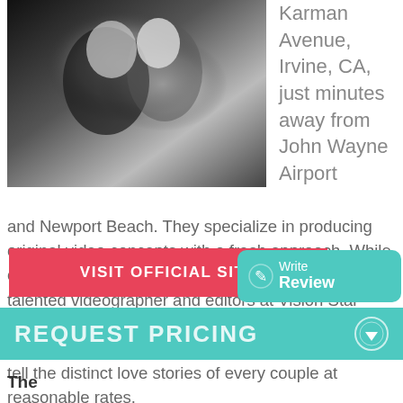[Figure (photo): Black and white photo of a couple at a wedding, close together and smiling]
Karman Avenue, Irvine, CA, just minutes away from John Wayne Airport and Newport Beach. They specialize in producing original video concepts with a fresh approach. While considering their clients thoughts and ideas, the talented videographer and editors at Vision Star Media use their years of experience, expertise and quality equipment to develop wedding videos that tell the distinct love stories of every couple at reasonable rates.
VISIT OFFICIAL SITE
Write Review
REQUEST PRICING
The